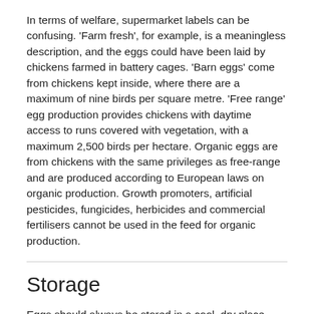In terms of welfare, supermarket labels can be confusing. 'Farm fresh', for example, is a meaningless description, and the eggs could have been laid by chickens farmed in battery cages. 'Barn eggs' come from chickens kept inside, where there are a maximum of nine birds per square metre. 'Free range' egg production provides chickens with daytime access to runs covered with vegetation, with a maximum 2,500 birds per hectare. Organic eggs are from chickens with the same privileges as free-range and are produced according to European laws on organic production. Growth promoters, artificial pesticides, fungicides, herbicides and commercial fertilisers cannot be used in the feed for organic production.
Storage
Eggs should always be stored in a cool, dry place, ideally in the fridge. However, it is preferable to bring them up to room temperature before cooking, so try to remove them from the fridge in advance. Remember